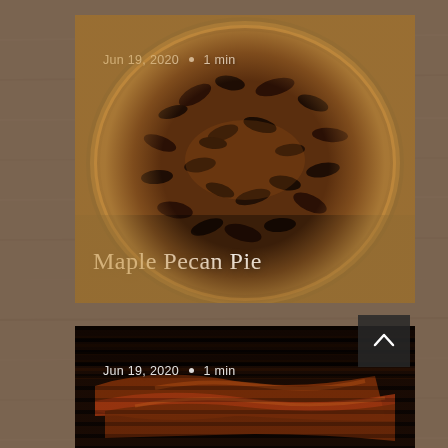[Figure (photo): Close-up photo of a maple pecan pie with dense pecan topping, displayed as a card on a wood-grain background. Date and read-time overlaid at top: 'Jun 19, 2020 · 1 min'. Title overlaid at bottom: 'Maple Pecan Pie'.]
[Figure (photo): Close-up photo of what appears to be barbecued/smoked meat (bacon or ribs) on a grill grate, displayed as a partial card. Date and read-time overlaid: 'Jun 19, 2020 · 1 min'. A scroll-to-top arrow button is visible in the upper-right corner of this section.]